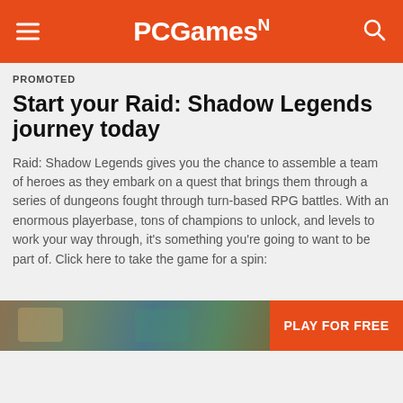PCGamesN
PROMOTED
Start your Raid: Shadow Legends journey today
Raid: Shadow Legends gives you the chance to assemble a team of heroes as they embark on a quest that brings them through a series of dungeons fought through turn-based RPG battles. With an enormous playerbase, tons of champions to unlock, and levels to work your way through, it’s something you’re going to want to be part of. Click here to take the game for a spin:
[Figure (photo): Game screenshot banner with orange PLAY FOR FREE button on the right]